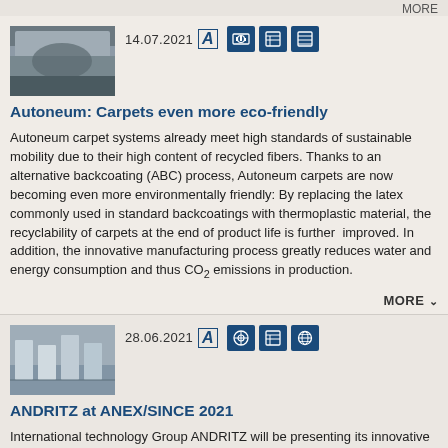[Figure (photo): Thumbnail photo of Autoneum carpet product, dark tones]
14.07.2021
Autoneum: Carpets even more eco-friendly
Autoneum carpet systems already meet high standards of sustainable mobility due to their high content of recycled fibers. Thanks to an alternative backcoating (ABC) process, Autoneum carpets are now becoming even more environmentally friendly: By replacing the latex commonly used in standard backcoatings with thermoplastic material, the recyclability of carpets at the end of product life is further  improved. In addition, the innovative manufacturing process greatly reduces water and energy consumption and thus CO2 emissions in production.
MORE
[Figure (photo): Thumbnail photo of ANDRITZ industrial machinery/textile equipment in a factory setting]
28.06.2021
ANDRITZ at ANEX/SINCE 2021
International technology Group ANDRITZ will be presenting its innovative nonwovens production and textile solutions at ANEX/SINCE 2021 in Shanghai, China, from July 22 to 24, 2021. The